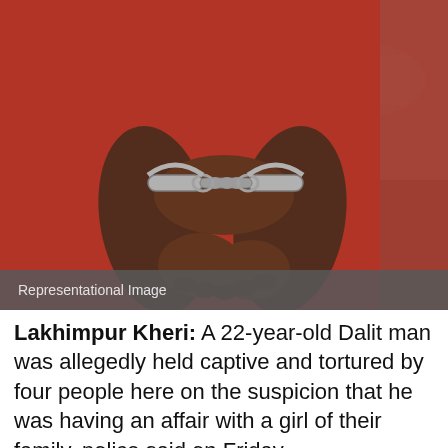[Figure (photo): Close-up photo of a person's hands held behind their back in handcuffs. The person is wearing a red garment. Background is blurred showing an outdoor scene with a vehicle visible.]
Representational Image
Lakhimpur Kheri: A 22-year-old Dalit man was allegedly held captive and tortured by four people here on the suspicion that he was having an affair with a girl of their family, police said on Friday.